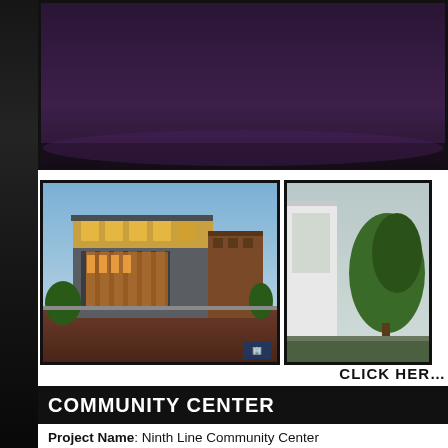[Figure (illustration): Dark purple/black architectural rendering background image at top]
[Figure (illustration): Architectural rendering of a two-story community center building with yellow/tan facade, large windows, and columns, dusk lighting]
[Figure (illustration): Partial view of second architectural rendering, appears to show exterior trees and white building facade]
CLICK HERE
COMMUNITY CENTER
Project Name: Ninth Line Community Center